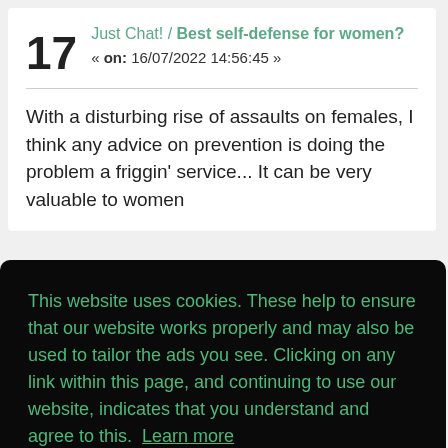Just Chat! / Best self-defense for women?
« on: 16/07/2022 14:56:45 »
With a disturbing rise of assaults on females, I think any advice on prevention is doing the problem a friggin' service... It can be very valuable to women
This website uses cookies. These help to ensure that our website works properly and may also be used to tailor the ads you see. Clicking on any link within this page, and continuing to use our website, indicates that you understand and agree to this. Learn more
Got it!